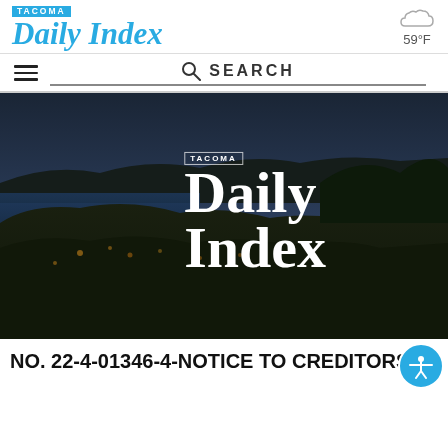Tacoma Daily Index
59°F
[Figure (screenshot): Tacoma Daily Index website screenshot showing navigation bar with hamburger menu, search bar, hero image of Tacoma cityscape with Daily Index logo overlay]
NO. 22-4-01346-4-NOTICE TO CREDITORS